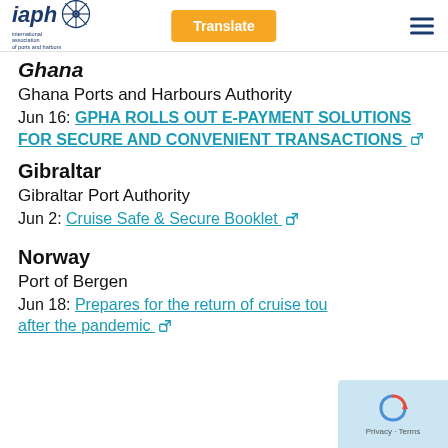iaph [logo] | Translate | [menu]
Ghana
Ghana Ports and Harbours Authority
Jun 16: GPHA ROLLS OUT E-PAYMENT SOLUTIONS FOR SECURE AND CONVENIENT TRANSACTIONS [external link]
Gibraltar
Gibraltar Port Authority
Jun 2: Cruise Safe & Secure Booklet [external link]
Norway
Port of Bergen
Jun 18: Prepares for the return of cruise tourism after the pandemic [external link]